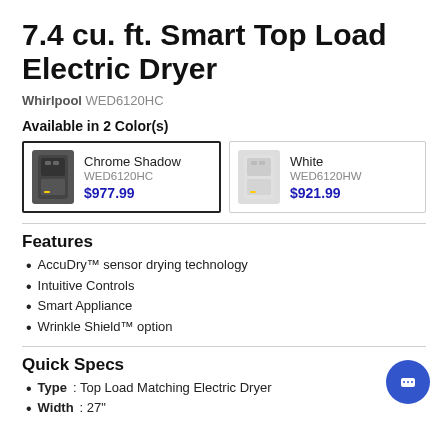7.4 cu. ft. Smart Top Load Electric Dryer
Whirlpool WED6120HC
Available in 2 Color(s)
[Figure (other): Two color option cards: Chrome Shadow (WED6120HC) $977.99 selected with dark appliance image, and White (WED6120HW) $921.99 with light appliance image]
Features
AccuDry™ sensor drying technology
Intuitive Controls
Smart Appliance
Wrinkle Shield™ option
Quick Specs
Type: Top Load Matching Electric Dryer
Width: 27"